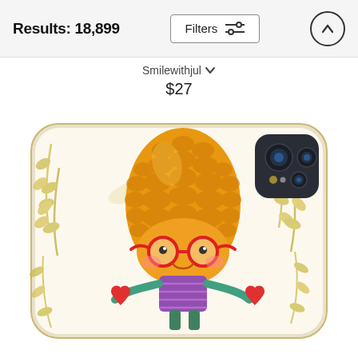Results: 18,899
Filters
Smilewithjul
$27
[Figure (photo): Phone case product image featuring a cute cartoon pineapple character wearing red glasses and holding hearts, with floral/leaf background in gold and cream tones. A phone camera module is visible in the upper right corner of the case.]